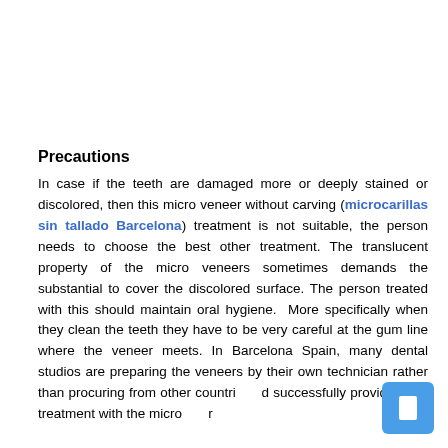Precautions
In case if the teeth are damaged more or deeply stained or discolored, then this micro veneer without carving (microcarillas sin tallado Barcelona) treatment is not suitable, the person needs to choose the best other treatment. The translucent property of the micro veneers sometimes demands the substantial to cover the discolored surface. The person treated with this should maintain oral hygiene.  More specifically when they clean the teeth they have to be very careful at the gum line where the veneer meets. In Barcelona Spain, many dental studios are preparing the veneers by their own technician rather than procuring from other countries and successfully providing the treatment with the micro veneer without carving.